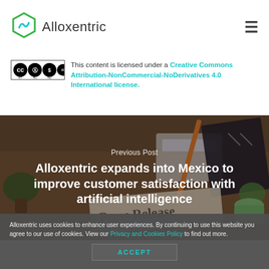Alloxentric
This content is licensed under a Creative Commons Attribution-NonCommercial-NoDerivatives 4.0 International license.
[Figure (photo): Background photo of a desk with calculator, notebook, pencil, plants, and a 'Press Release' newspaper. Overlay text: 'Previous Post' and 'Alloxentric expands into Mexico to improve customer satisfaction with artificial intelligence']
Alloxentric uses cookies to enhance user experiences. By continuing to use this website you agree to our use of cookies. View our Privacy and Cookies Policy to find out more.
ACCEPT